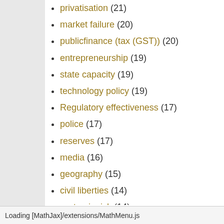privatisation (21)
market failure (20)
publicfinance (tax (GST)) (20)
entrepreneurship (19)
state capacity (19)
technology policy (19)
Regulatory effectiveness (17)
police (17)
reserves (17)
media (16)
geography (15)
civil liberties (14)
systemic risk (14)
prudential regulation (13)
volatility (13)
clearing corporation (12)
Loading [MathJax]/extensions/MathMenu.js